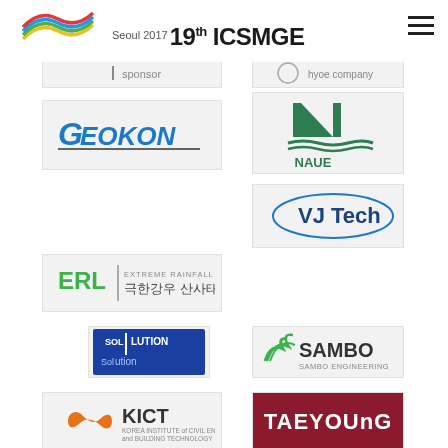[Figure (logo): Seoul 2017 19th ICSMGE conference logo with colorful wave]
[Figure (logo): Partial sponsor logo (top, cut off) - left column]
[Figure (logo): Partial sponsor logo (top, cut off) - right column]
[Figure (logo): GEOKON sponsor logo]
[Figure (logo): NAUE sponsor logo]
[Figure (logo): VJ Tech sponsor logo]
[Figure (logo): ERL 극한강우 산사태 연구단 sponsor logo]
[Figure (logo): SOL Solution sponsor logo]
[Figure (logo): SAMBO Engineering sponsor logo]
[Figure (logo): KICT Korea Institute of Civil Engineering and Building Technology sponsor logo]
[Figure (logo): TAEYOUNG sponsor logo]
[Figure (logo): 반석기초이앤씨(주) sponsor logo]
[Figure (logo): DMEC sponsor logo]
[Figure (logo): Partial sponsor logo (bottom, cut off) - left]
[Figure (logo): Partial sponsor logo (bottom, cut off) - right]